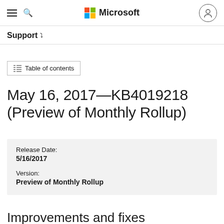Microsoft — Support
May 16, 2017—KB4019218 (Preview of Monthly Rollup)
| Field | Value |
| --- | --- |
| Release Date: | 5/16/2017 |
| Version: | Preview of Monthly Rollup |
Improvements and fixes